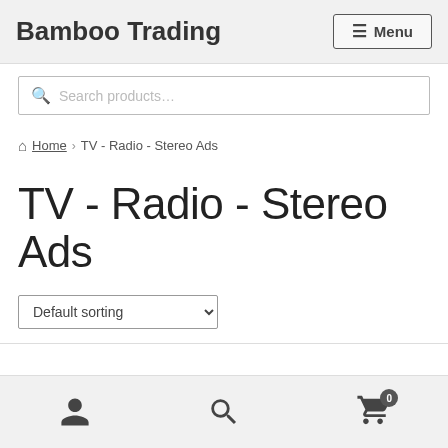Bamboo Trading
Search products...
Home › TV - Radio - Stereo Ads
TV - Radio - Stereo Ads
Default sorting
User icon | Search icon | Cart (0)